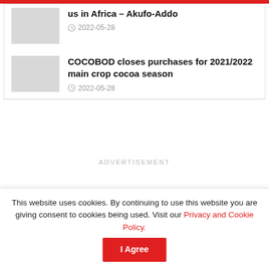us in Africa – Akufo-Addo
2022-05-28
COCOBOD closes purchases for 2021/2022 main crop cocoa season
2022-05-28
ADVERTISEMENT
Must Reads
High price volatility makes crypto assets unattractive as a
This website uses cookies. By continuing to use this website you are giving consent to cookies being used. Visit our Privacy and Cookie Policy.